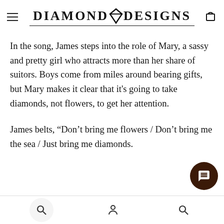DIAMOND V DESIGNS
In the song, James steps into the role of Mary, a sassy and pretty girl who attracts more than her share of suitors. Boys come from miles around bearing gifts, but Mary makes it clear that it's going to take diamonds, not flowers, to get her attention.
James belts, “Don’t bring me flowers / Don’t bring me the sea / Just bring me diamonds.